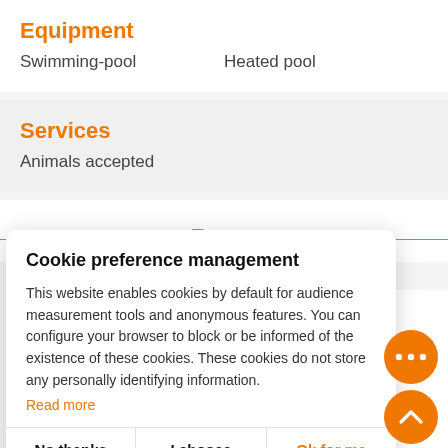Equipment
Swimming-pool    Heated pool
Services
Animals accepted
Rates
Cookie preference management
This website enables cookies by default for audience measurement tools and anonymous features. You can configure your browser to block or be informed of the existence of these cookies. These cookies do not store any personally identifying information.
Read more
No thanks    I choose    Ok for me